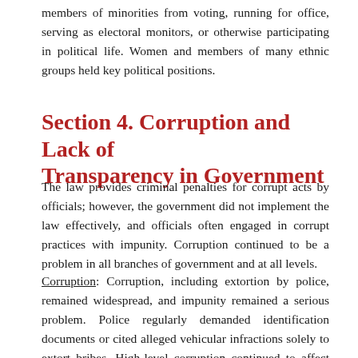members of minorities from voting, running for office, serving as electoral monitors, or otherwise participating in political life. Women and members of many ethnic groups held key political positions.
Section 4. Corruption and Lack of Transparency in Government
The law provides criminal penalties for corrupt acts by officials; however, the government did not implement the law effectively, and officials often engaged in corrupt practices with impunity. Corruption continued to be a problem in all branches of government and at all levels.
Corruption: Corruption, including extortion by police, remained widespread, and impunity remained a serious problem. Police regularly demanded identification documents or cited alleged vehicular infractions solely to extort bribes. High-level corruption continued to affect the country. The Center for Public